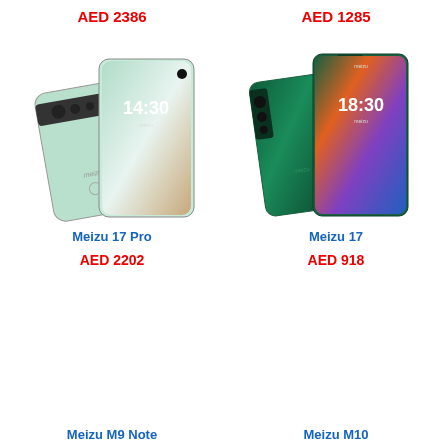AED 2386
[Figure (photo): Meizu 17 Pro smartphone showing back and front views in light green/mint color]
AED 1285
[Figure (photo): Meizu 17 smartphone showing back and front views in dark green color]
Meizu 17 Pro
Meizu 17
AED 2202
AED 918
Meizu M9 Note
Meizu M10